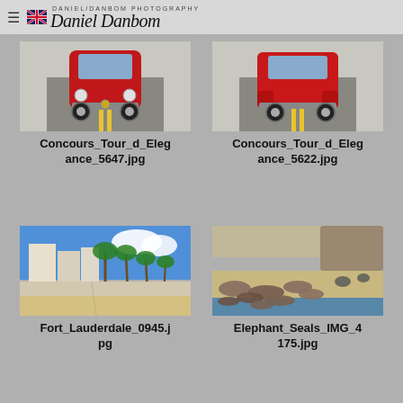DANIEL/DANBOM PHOTOGRAPHY
[Figure (photo): Front view of a red classic car on a road with yellow center lines — Concours_Tour_d_Elegance_5647.jpg]
Concours_Tour_d_Elegance_5647.jpg
[Figure (photo): Side/rear view of a red classic car on a road — Concours_Tour_d_Elegance_5622.jpg]
Concours_Tour_d_Elegance_5622.jpg
[Figure (photo): Beach promenade with palm trees and high-rise buildings in Fort Lauderdale — Fort_Lauderdale_0945.jpg]
Fort_Lauderdale_0945.jpg
[Figure (photo): Elephant seals resting on a beach with ocean waves in the background — Elephant_Seals_IMG_4175.jpg]
Elephant_Seals_IMG_4175.jpg